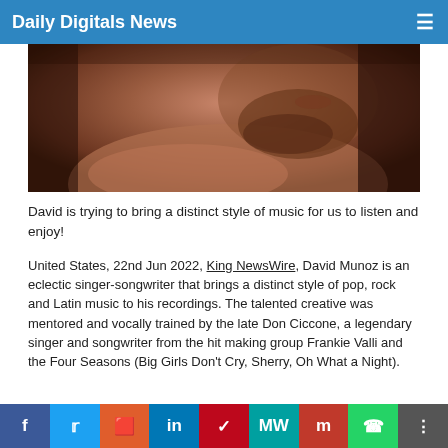Daily Digitals News
[Figure (photo): Close-up photo of a man with beard and bare chest]
David is trying to bring a distinct style of music for us to listen and enjoy!
United States, 22nd Jun 2022, King NewsWire, David Munoz is an eclectic singer-songwriter that brings a distinct style of pop, rock and Latin music to his recordings. The talented creative was mentored and vocally trained by the late Don Ciccone, a legendary singer and songwriter from the hit making group Frankie Valli and the Four Seasons (Big Girls Don't Cry, Sherry, Oh What a Night).
Social share buttons: Facebook, Twitter, Reddit, LinkedIn, Pinterest, MeWe, Mix, WhatsApp, Share